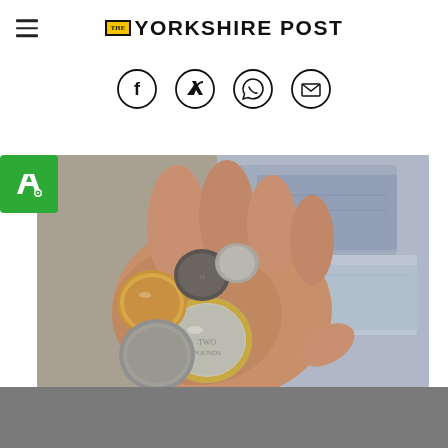The Yorkshire Post
[Figure (logo): The Yorkshire Post newspaper logo with 'THE' in a yellow/gold box and 'YORKSHIRE POST' in bold black sans-serif text]
[Figure (infographic): Social share icons: Facebook, Twitter, WhatsApp, Email — circular outlined icons]
[Figure (logo): Green square logo with white A. letter mark (Awin/affiliate network)]
[Figure (photo): Close-up photograph of a hand holding several British coins (pound coins and smaller silver coins) with blurred bank notes in the background]